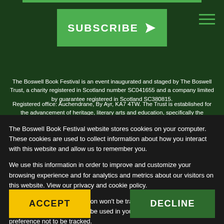[Figure (screenshot): Green SUBSCRIBE button with send/arrow icon and hamburger menu icon on dark green background]
The Boswell Book Festival is an event inaugurated and staged by The Boswell Trust, a charity registered in Scotland number SC041655 and a company limited by guarantee registered in Scotland SC380815.
Registered office: Auchendrane, By Ayr, KA7 4TW. The Trust is established for the advancement of heritage, literary arts and education, specifically the restoration of James Boswell's Mausoleum in Auchinleck Churchyard and
The Boswell Book Festival website stores cookies on your computer. These cookies are used to collect information about how you interact with this website and allow us to remember you.
We use this information in order to improve and customize your browsing experience and for analytics and metrics about our visitors on this website. View our privacy and cookie policy.
If you decline, your information won't be tracked when you visit this website. A single cookie will be used in your browser to remember your preference not to be tracked.
ACCEPT
DECLINE